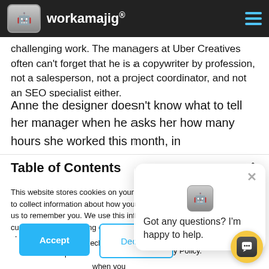workamajig
challenging work. The managers at Uber Creatives often can't forget that he is a copywriter by profession, not a salesperson, not a project coordinator, and not an SEO specialist either.
Anne the designer doesn't know what to tell her manager when he asks her how many hours she worked this month, in
Table of Contents
This website stores cookies on your computer. These cookies are used to collect information about how you interact with our website and allow us to remember you. We use this information in order to improve and customize your browsing experience and for analytics and metrics about our visitors both on this website and other media. To find out more about the cookies we use, see our Privacy Policy.
If you decline, your information won't be tracked when you visit this website. A single cookie will be used in your browser to remember your preference not to be tracked.
Got any questions? I'm happy to help.